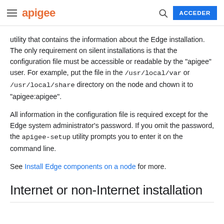apigee  ACCEDER
utility that contains the information about the Edge installation. The only requirement on silent installations is that the configuration file must be accessible or readable by the "apigee" user. For example, put the file in the /usr/local/var or /usr/local/share directory on the node and chown it to "apigee:apigee".
All information in the configuration file is required except for the Edge system administrator's password. If you omit the password, the apigee-setup utility prompts you to enter it on the command line.
See Install Edge components on a node for more.
Internet or non-Internet installation